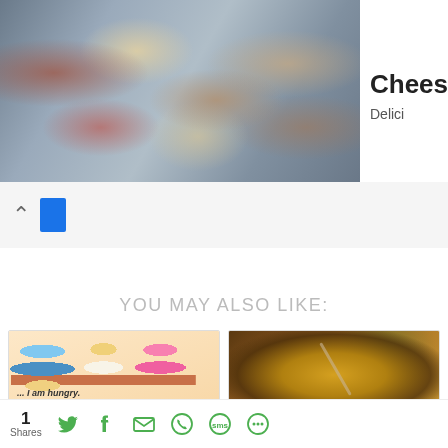[Figure (photo): Advertisement banner showing Cheesecakes food images with See More button and Delici text]
Cheesecakes
Delici
YOU MAY ALSO LIKE:
[Figure (illustration): Cartoon illustration of kids cooking with text '... I am hungry.']
MY TOP FIVE EASY TIME SAVING VEGETARIAN
[Figure (photo): Photo of veggie rice with lentils in a clay bowl, Chuti Khichdi]
VEGGIE RICE WITH LENTILS- CHUTI KHICHDI
1 Shares